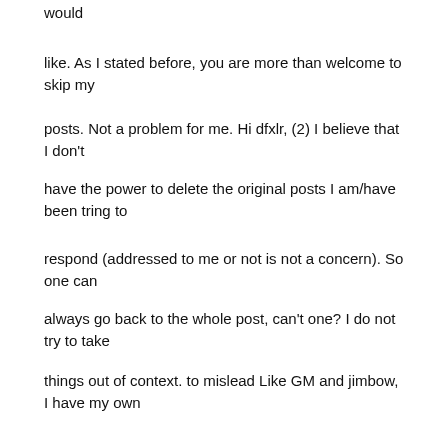would
like. As I stated before, you are more than welcome to skip my
posts. Not a problem for me. Hi dfxlr, (2) I believe that I don't
have the power to delete the original posts I am/have been tring to
respond (addressed to me or not is not a concern). So one can
always go back to the whole post, can't one? I do not try to take
things out of context. to mislead Like GM and jimbow, I have my own
preferred style. My preferred style is to respond point by point.
If anyone has doubts, the original is available in the same thread.